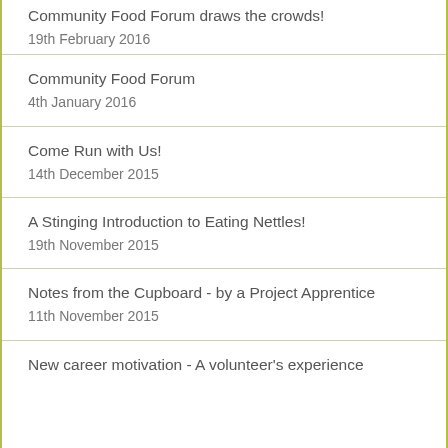Community Food Forum draws the crowds!
19th February 2016
Community Food Forum
4th January 2016
Come Run with Us!
14th December 2015
A Stinging Introduction to Eating Nettles!
19th November 2015
Notes from the Cupboard - by a Project Apprentice
11th November 2015
New career motivation - A volunteer's experience